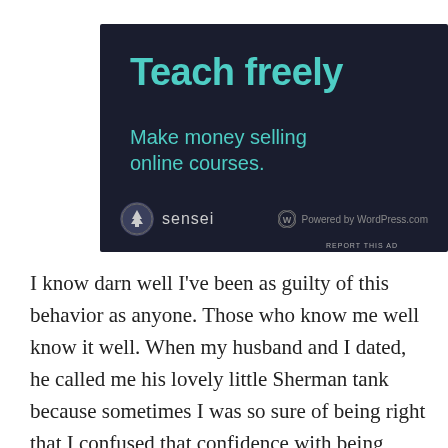[Figure (other): Advertisement for Sensei plugin: dark background with teal text reading 'Teach freely' and 'Make money selling online courses.' Sensei logo and 'Powered by WordPress.com' at bottom.]
REPORT THIS AD
I know darn well I've been as guilty of this behavior as anyone. Those who know me well know it well. When my husband and I dated, he called me his lovely little Sherman tank because sometimes I was so sure of being right that I confused that confidence with being